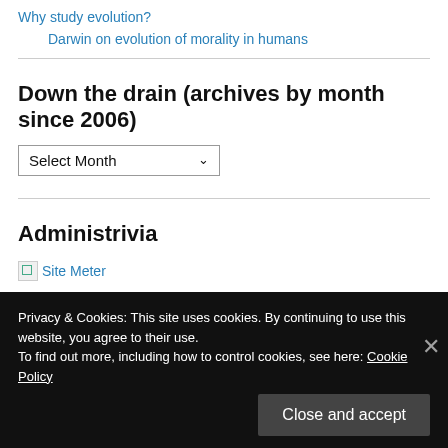Why study evolution?
Darwin on evolution of morality in humans
Down the drain (archives by month since 2006)
Select Month
Administrivia
Site Meter Site Meter
Embarrassing Bubbles in the Bathtub
Privacy & Cookies: This site uses cookies. By continuing to use this website, you agree to their use.
To find out more, including how to control cookies, see here: Cookie Policy
Close and accept